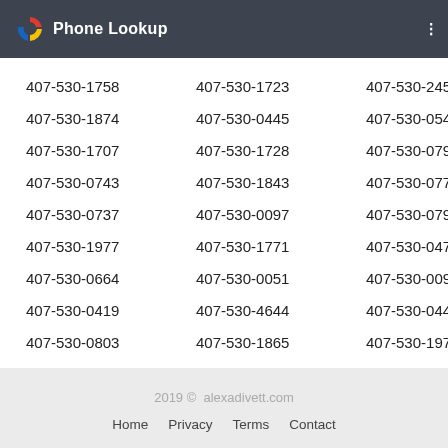Phone Lookup
407-530-1758  407-530-1723  407-530-2454
407-530-1874  407-530-0445  407-530-0546
407-530-1707  407-530-1728  407-530-0796
407-530-0743  407-530-1843  407-530-0772
407-530-0737  407-530-0097  407-530-0797
407-530-1977  407-530-1771  407-530-0476
407-530-0664  407-530-0051  407-530-0096
407-530-0419  407-530-4644  407-530-0444
407-530-0803  407-530-1865  407-530-1972
407-530-0715  407-530-1851  407-530-0707
2019 © alexadivett.com  Home  Privacy  Terms  Contact